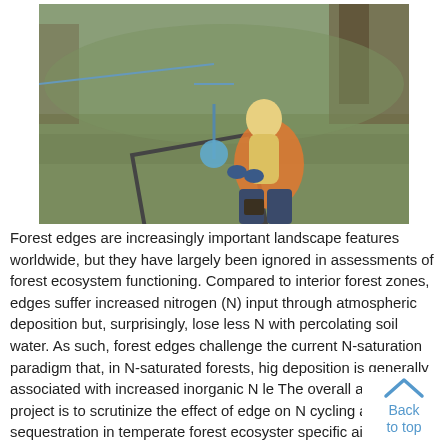[Figure (photo): A blonde woman crouching in a forest clearing, handling scientific equipment including a square metal frame on the ground and a blue spherical object on a stand, surrounded by grass and trees.]
Forest edges are increasingly important landscape features worldwide, but they have largely been ignored in assessments of forest ecosystem functioning. Compared to interior forest zones, edges suffer increased nitrogen (N) input through atmospheric deposition but, surprisingly, lose less N with percolating soil water. As such, forest edges challenge the current N-saturation paradigm that, in N-saturated forests, hig deposition is generally associated with increased inorganic N le The overall aim of this project is to scrutinize the effect of edge on N cycling and N sequestration in temperate forest ecosyster specific aims are to investigate (i) whether and to what extent gaseous N